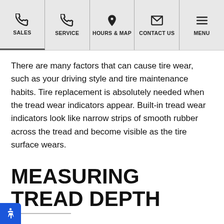SALES | SERVICE | HOURS & MAP | CONTACT US | MENU
There are many factors that can cause tire wear, such as your driving style and tire maintenance habits. Tire replacement is absolutely needed when the tread wear indicators appear. Built-in tread wear indicators look like narrow strips of smooth rubber across the tread and become visible as the tire surface wears.
MEASURING TREAD DEPTH
A quick and easy way to check your tire wear is with a tread-depth gauge. These tools come in either digital or mechanical versions. The easiest way to check wear on your tire is with a penny. Place a